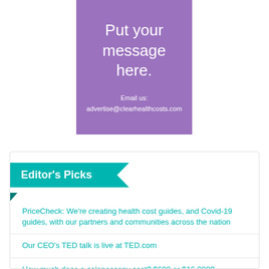[Figure (other): Purple advertisement banner with text 'Put your message here.' and email contact advertise@clearhealthcosts.com]
Editor's Picks
PriceCheck: We're creating health cost guides, and Covid-19 guides, with our partners and communities across the nation
Our CEO's TED talk is live at TED.com
How much does a colonoscopy cost? $600 or $16,000?